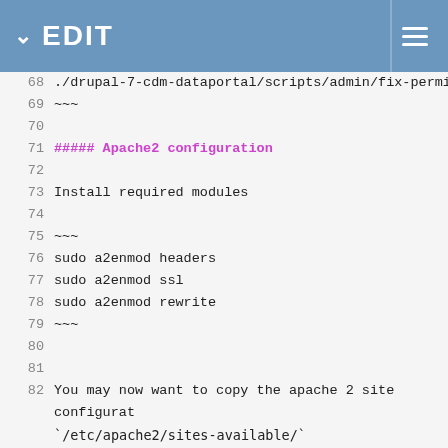EDIT
68  ./drupal-7-cdm-dataportal/scripts/admin/fix-permission
69  ~~~
70
71  ##### Apache2 configuration
72
73  Install required modules
74
75  ~~~
76  sudo a2enmod headers
77  sudo a2enmod ssl
78  sudo a2enmod rewrite
79  ~~~
80
81
82  You may now want to copy the apache 2 site configurat `/ etc/apache2/sites-available/`
83  and to activate one of them, preferably the ssl site
84
85  ~~~
86  cd /var/www
87  sudo cp drupal-7-cdm-dataportal/scripts/apache2.4/dat
88  sudo a2ensite dataportal.test-ssl.conf
89  sudo a2ensite dataportal.test.conf
90  sudo systemctl restart apache2
91  ~~~
92